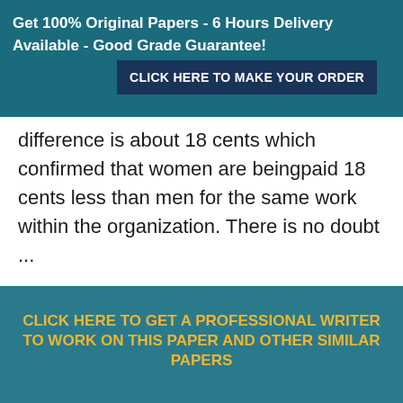Get 100% Original Papers - 6 Hours Delivery Available - Good Grade Guarantee! CLICK HERE TO MAKE YOUR ORDER
difference is about 18 cents which confirmed that women are beingpaid 18 cents less than men for the same work within the organization. There is no doubt ...
CLICK HERE TO GET A PROFESSIONAL WRITER TO WORK ON THIS PAPER AND OTHER SIMILAR PAPERS
[Figure (other): ORDER NOW button with arrows and PayPal secure order bar below]